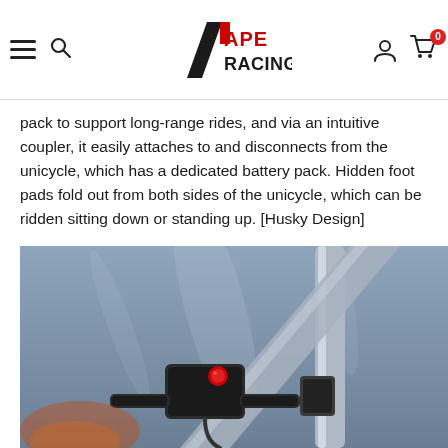Ape Racing — navigation bar with hamburger menu, search, logo, user account, and cart (0 items)
pack to support long-range rides, and via an intuitive coupler, it easily attaches to and disconnects from the unicycle, which has a dedicated battery pack. Hidden foot pads fold out from both sides of the unicycle, which can be ridden sitting down or standing up. [Husky Design]
[Figure (photo): Close-up product photo of a futuristic electric unicycle component showing handlebars with a red button and metallic frame against a grey background, with a Reviews tab overlay on the right side.]